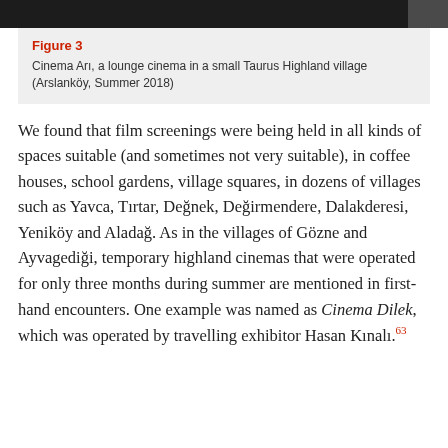[Figure (photo): Dark image strip at top of page, partial view of a cinema or indoor space]
Figure 3
Cinema Arı, a lounge cinema in a small Taurus Highland village (Arslanköy, Summer 2018)
We found that film screenings were being held in all kinds of spaces suitable (and sometimes not very suitable), in coffee houses, school gardens, village squares, in dozens of villages such as Yavca, Tırtar, Değnek, Değirmendere, Dalakderesi, Yeniköy and Aladağ. As in the villages of Gözne and Ayvagediği, temporary highland cinemas that were operated for only three months during summer are mentioned in first-hand encounters. One example was named as Cinema Dilek, which was operated by travelling exhibitor Hasan Kınalı.63